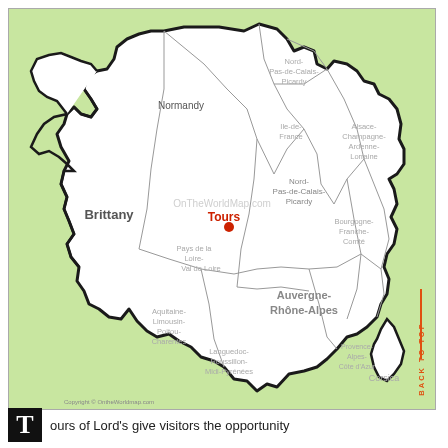[Figure (map): Map of France showing regions with Tours marked by a red dot. Regions labeled include Brittany, Normandy, Nord-Pas-de-Calais-Picardy, Alsace-Champagne-Ardenne-Lorraine, Ile-de-France, Bourgogne-Franche-Comté, Pays de la Loire/Val de Loire, Auvergne-Rhône-Alpes, Languedoc-Roussillon-Midi-Pyrénées, Provence-Alpes-Côte d'Azur, Aquitaine-Limousin-Poitou-Charentes, and Corsica. Watermark reads OnTheWorldMap.com. Back to Top label on right side.]
ours of Lord's give visitors the opportunity